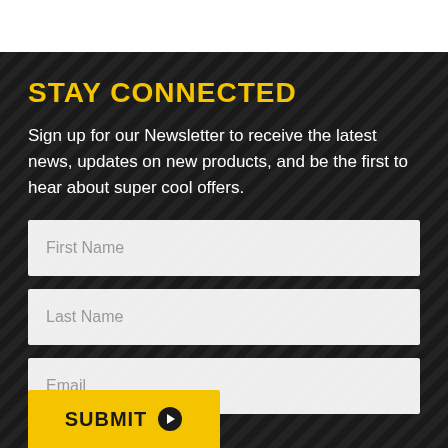STAY CONNECTED
Sign up for our Newsletter to receive the latest news, updates on new products, and be the first to hear about super cool offers.
[Figure (other): First Name input field (white rectangle)]
[Figure (other): Last Name input field (white rectangle)]
[Figure (other): Email input field (white rectangle)]
[Figure (other): Yellow SUBMIT button with arrow icon]